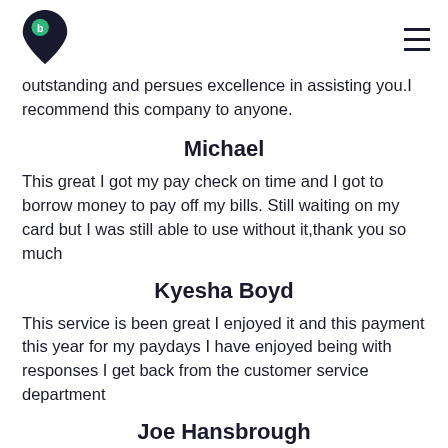[Figure (logo): Dark navy blue logo with a number 9 pin/location marker shape and a small green circle with 'b' inside]
outstanding and persues excellence in assisting you.I recommend this company to anyone.
Michael
This great I got my pay check on time and I got to borrow money to pay off my bills. Still waiting on my card but I was still able to use without it,thank you so much
Kyesha Boyd
This service is been great I enjoyed it and this payment this year for my paydays I have enjoyed being with responses I get back from the customer service department
Joe Hansbrough